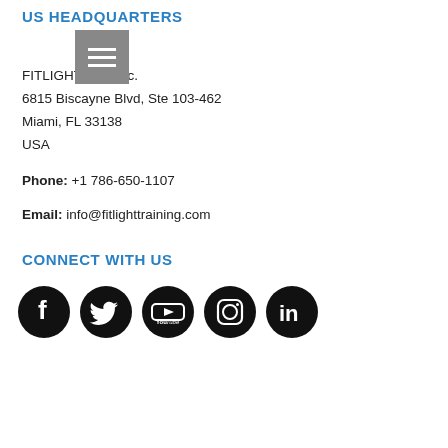US HEADQUARTERS
[Figure (other): Navigation hamburger menu icon with three white lines on a gray background square]
FITLIGHT USA Inc.
6815 Biscayne Blvd, Ste 103-462
Miami, FL 33138
USA
Phone: +1 786-650-1107
Email: info@fitlighttraining.com
CONNECT WITH US
[Figure (illustration): Five circular black social media icons: Facebook, Twitter, YouTube, Instagram, LinkedIn]